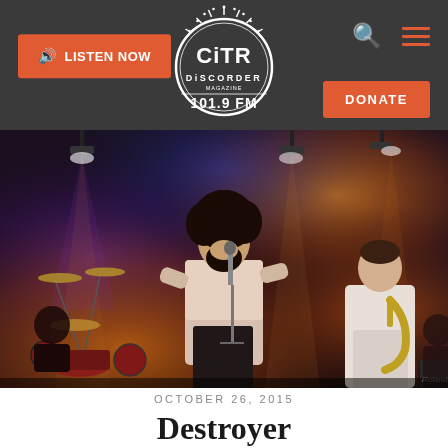CiTR Discorder 101.9 FM — LISTEN NOW | DONATE
[Figure (photo): Concert photo of Destroyer performing live on stage. Lead singer with curly hair and beard singing into microphone, wearing white shirt. Drummer visible on left, saxophonist on right in white shirt. Dramatic stage lighting with orange, purple, and blue lights.]
OCTOBER 26, 2015
Destroyer